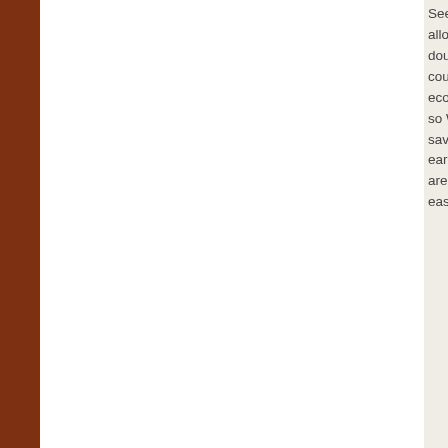See if your supermarket allows you to double or triple coupon. The economy is tough, so Walmart can save your hard earned money. We are here for easy access
Tagged Beverages, Coffee | Bookmark the permalink.
Directory of Coupons $1.00 off any ONE